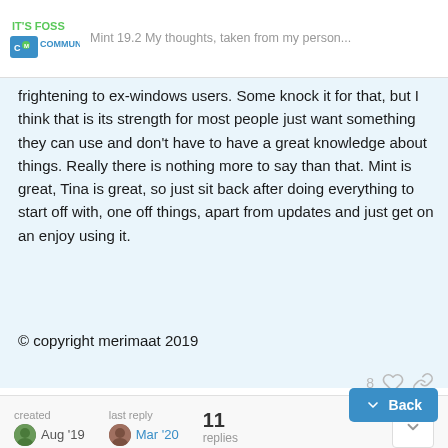IT'S FOSS COMMUNITY — Mint 19.2 My thoughts, taken from my person...
frightening to ex-windows users. Some knock it for that, but I think that is its strength for most people just want something they can use and don't have to have a great knowledge about things. Really there is nothing more to say than that. Mint is great, Tina is great, so just sit back after doing everything to start off with, one off things, apart from updates and just get on an enjoy using it.
© copyright merimaat 2019
8
created Aug '19  last reply Mar '20  11 replies
easyt50  Aug '19
1 / 12